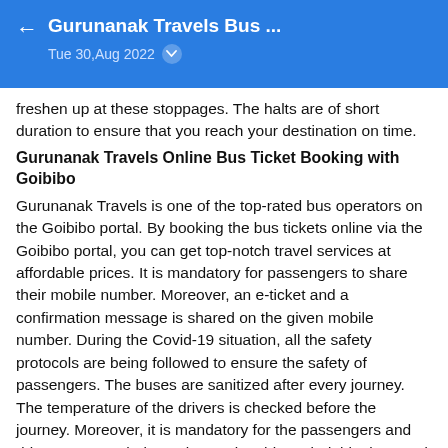Gurunanak Travels Bus … Tue 30,Aug 2022
freshen up at these stoppages. The halts are of short duration to ensure that you reach your destination on time.
Gurunanak Travels Online Bus Ticket Booking with Goibibo
Gurunanak Travels is one of the top-rated bus operators on the Goibibo portal. By booking the bus tickets online via the Goibibo portal, you can get top-notch travel services at affordable prices. It is mandatory for passengers to share their mobile number. Moreover, an e-ticket and a confirmation message is shared on the given mobile number. During the Covid-19 situation, all the safety protocols are being followed to ensure the safety of passengers. The buses are sanitized after every journey. The temperature of the drivers is checked before the journey. Moreover, it is mandatory for the passengers and drivers to wear their masks. During this period, blankets and pillows are not being offered to passengers due to safety reasons. If you make your booking on Goibibo, you can get instant discounts and concessions, if applicable, for your travel. Furthermore, you also get technical support from Goibibo in case of emergencies. For any of your